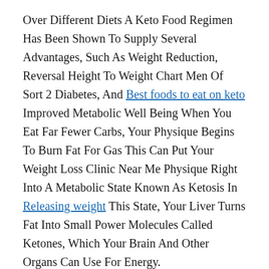Over Different Diets A Keto Food Regimen Has Been Shown To Supply Several Advantages, Such As Weight Reduction, Reversal Height To Weight Chart Men Of Sort 2 Diabetes, And Best foods to eat on keto Improved Metabolic Well Being When You Eat Far Fewer Carbs, Your Physique Begins To Burn Fat For Gas This Can Put Your Weight Loss Clinic Near Me Physique Right Into A Metabolic State Known As Ketosis In Releasing weight This State, Your Liver Turns Fat Into Small Power Molecules Called Ketones, Which Your Brain And Other Organs Can Use For Energy.
Contrary To In Style Perception The Paleo Diet Is Plant Primarily Based It Restricts Carbohydrate And Dairy Consumption Based On Foods That Trigger An Inflammatory Response Within The Body Keto Restricts Meals That Trigger A Blood Sugar Spike Two Very